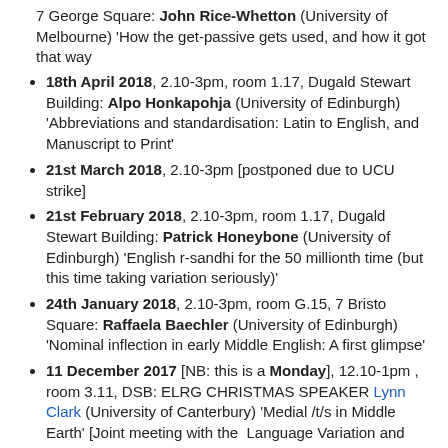7 George Square: John Rice-Whetton (University of Melbourne) 'How the get-passive gets used, and how it got that way
18th April 2018, 2.10-3pm, room 1.17, Dugald Stewart Building: Alpo Honkapohja (University of Edinburgh) 'Abbreviations and standardisation: Latin to English, and Manuscript to Print'
21st March 2018, 2.10-3pm [postponed due to UCU strike]
21st February 2018, 2.10-3pm, room 1.17, Dugald Stewart Building: Patrick Honeybone (University of Edinburgh) 'English r-sandhi for the 50 millionth time (but this time taking variation seriously)'
24th January 2018, 2.10-3pm, room G.15, 7 Bristo Square: Raffaela Baechler (University of Edinburgh) 'Nominal inflection in early Middle English: A first glimpse'
11 December 2017 [NB: this is a Monday], 12.10-1pm , room 3.11, DSB: ELRG CHRISTMAS SPEAKER Lynn Clark (University of Canterbury) 'Medial /t/s in Middle Earth' [Joint meeting with the Language Variation and Change Research Group and the P-Workshop.] Abstract: Compared with some other varieties of English around the world, New Zealand English (NZE) has a very small number of speakers. Despite this, work on NZE has had a disproportionately large impact on the field of Linguistics, not only in the description of this new variety but,